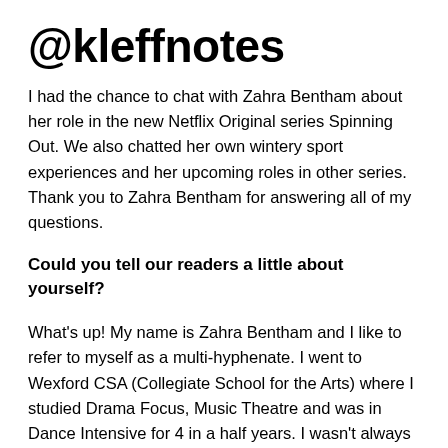@kleffnotes
I had the chance to chat with Zahra Bentham about her role in the new Netflix Original series Spinning Out. We also chatted her own wintery sport experiences and her upcoming roles in other series. Thank you to Zahra Bentham for answering all of my questions.
Could you tell our readers a little about yourself?
What's up! My name is Zahra Bentham and I like to refer to myself as a multi-hyphenate. I went to Wexford CSA (Collegiate School for the Arts) where I studied Drama Focus, Music Theatre and was in Dance Intensive for 4 in a half years. I wasn't always in the arts. I started as an athlete playing AA/AAA basketball, traveling to the states every weekend if not every other weekend. I was